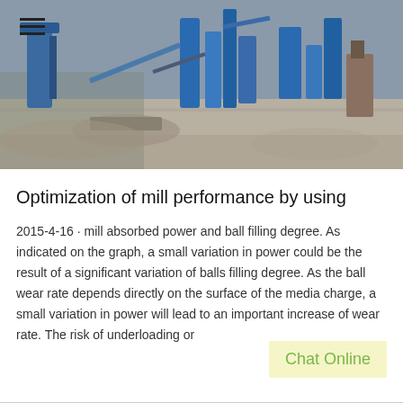[Figure (photo): Aerial view of an industrial milling/grinding plant with blue machinery, pipes, conveyors and equipment on a concrete pad]
Optimization of mill performance by using
2015-4-16 · mill absorbed power and ball filling degree. As indicated on the graph, a small variation in power could be the result of a significant variation of balls filling degree. As the ball wear rate depends directly on the surface of the media charge, a small variation in power will lead to an important increase of wear rate. The risk of underloading or
Chat Online